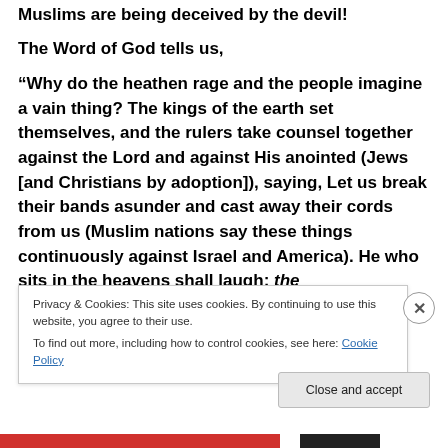Muslims are being deceived by the devil!
The Word of God tells us,
“Why do the heathen rage and the people imagine a vain thing? The kings of the earth set themselves, and the rulers take counsel together against the Lord and against His anointed (Jews [and Christians by adoption]), saying, Let us break their bands asunder and cast away their cords from us (Muslim nations say these things continuously against Israel and America). He who sits in the heavens shall laugh; the
Privacy & Cookies: This site uses cookies. By continuing to use this website, you agree to their use.
To find out more, including how to control cookies, see here: Cookie Policy
Close and accept